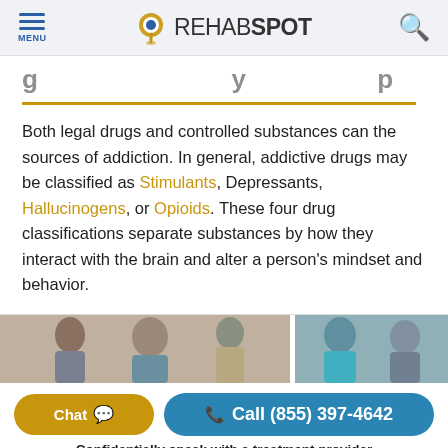MENU | REHABSPOT
...g...y...p...
Both legal drugs and controlled substances can the sources of addiction. In general, addictive drugs may be classified as Stimulants, Depressants, Hallucinogens, or Opioids. These four drug classifications separate substances by how they interact with the brain and alter a person's mindset and behavior.
[Figure (photo): Two side-by-side photos showing people in counseling or support settings]
Chat  Call (855) 397-4642
Confidentially speak with a treatment provider